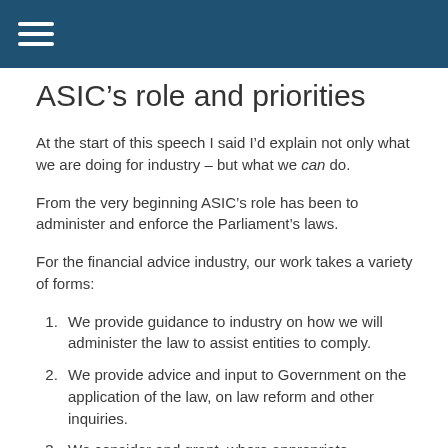ASIC’s role and priorities
At the start of this speech I said I’d explain not only what we are doing for industry – but what we can do.
From the very beginning ASIC’s role has been to administer and enforce the Parliament’s laws.
For the financial advice industry, our work takes a variety of forms:
We provide guidance to industry on how we will administer the law to assist entities to comply.
We provide advice and input to Government on the application of the law, on law reform and other inquiries.
We consider and grant, where appropriate, applications for relief from certain legislative